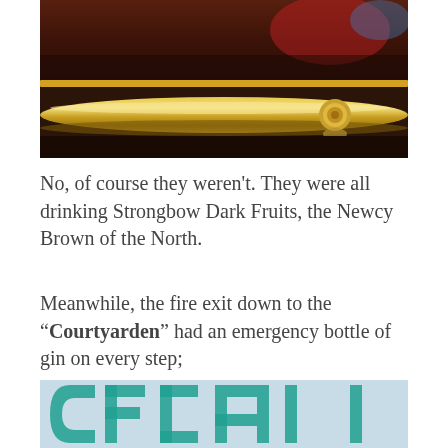[Figure (photo): Close-up photo of a golden/brass horizontal handrail or bar mounted on a dark glossy surface, likely inside a pub or bar setting. Red and blue reflections visible in the background.]
No, of course they weren't. They were all drinking Strongbow Dark Fruits, the Newcy Brown of the North.
Meanwhile, the fire exit down to the “Courtyarden” had an emergency bottle of gin on every step;
[Figure (photo): Partial view of a sign with teal/turquoise lettering on a light background, partially cropped at the bottom of the page.]